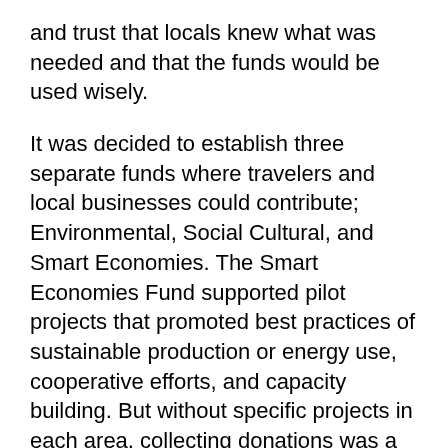and trust that locals knew what was needed and that the funds would be used wisely.
It was decided to establish three separate funds where travelers and local businesses could contribute; Environmental, Social Cultural, and Smart Economies. The Smart Economies Fund supported pilot projects that promoted best practices of sustainable production or energy use, cooperative efforts, and capacity building. But without specific projects in each area, collecting donations was a harder concept to sell.
Fortunately, the InterAmerican Foundation (IAF), as part of a larger grant, approved some seed money to begin immediately funding projects.  It was this grant from the IAF that prompted us to broaden the scope of the original project from